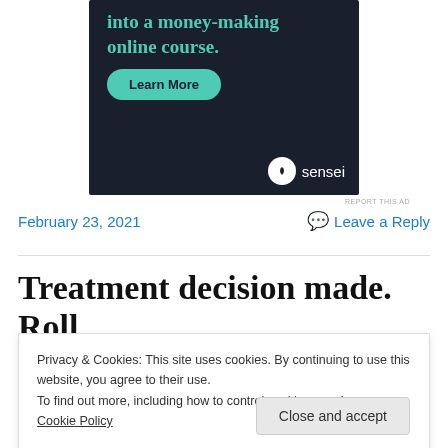[Figure (illustration): Dark-background advertisement banner for 'sensei' online course platform. Shows teal text partially visible ('into a money-making online course.'), a teal 'Learn More' button, and the sensei logo (white circle with tree icon and 'sensei' text) in bottom right.]
REPORT THIS AD
February 23, 2021
Leave a Reply
Treatment decision made. Roll
Privacy & Cookies: This site uses cookies. By continuing to use this website, you agree to their use.
To find out more, including how to control cookies, see here: Cookie Policy
Close and accept